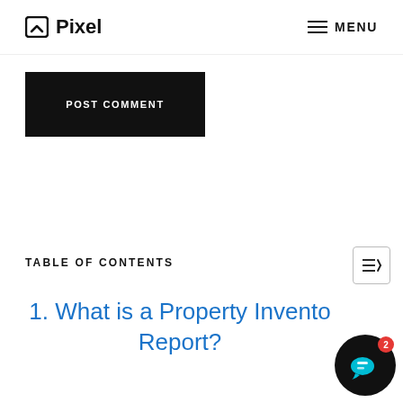Pixel  MENU
POST COMMENT
TABLE OF CONTENTS
1. What is a Property Inventory Report?